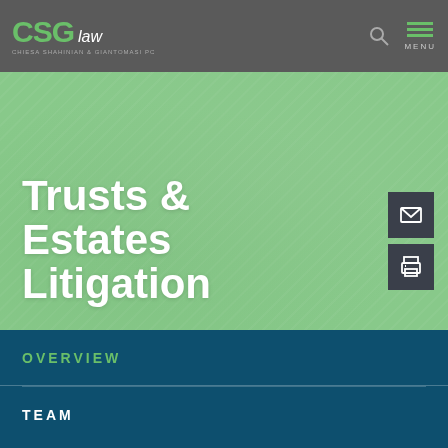CSG law — Chiesa Shahinian & Giantomasi PC
Trusts & Estates Litigation
OVERVIEW
TEAM